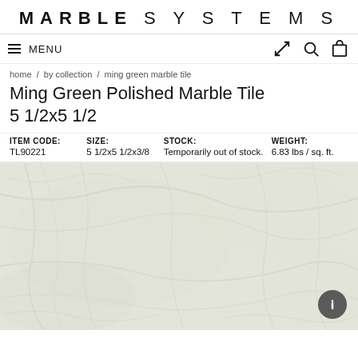MARBLE SYSTEMS
≡ MENU
home / by collection / ming green marble tile
Ming Green Polished Marble Tile 5 1/2x5 1/2
| ITEM CODE: | SIZE: | STOCK: | WEIGHT: |
| --- | --- | --- | --- |
| TL90221 | 5 1/2x5 1/2x3/8 | Temporarily out of stock. | 6.83 lbs / sq. ft. |
[Figure (photo): Close-up photo of Ming Green polished marble tile surface, showing cream/pale green marble with subtle veining and natural stone texture.]